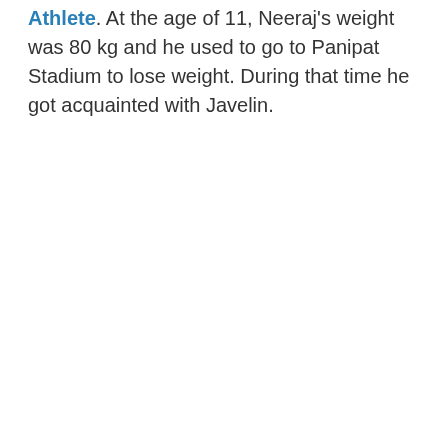Athlete. At the age of 11, Neeraj's weight was 80 kg and he used to go to Panipat Stadium to lose weight. During that time he got acquainted with Javelin.